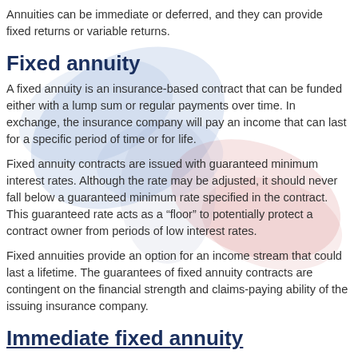Annuities can be immediate or deferred, and they can provide fixed returns or variable returns.
Fixed annuity
A fixed annuity is an insurance-based contract that can be funded either with a lump sum or regular payments over time. In exchange, the insurance company will pay an income that can last for a specific period of time or for life.
Fixed annuity contracts are issued with guaranteed minimum interest rates. Although the rate may be adjusted, it should never fall below a guaranteed minimum rate specified in the contract. This guaranteed rate acts as a “floor” to potentially protect a contract owner from periods of low interest rates.
Fixed annuities provide an option for an income stream that could last a lifetime. The guarantees of fixed annuity contracts are contingent on the financial strength and claims-paying ability of the issuing insurance company.
Immediate fixed annuity